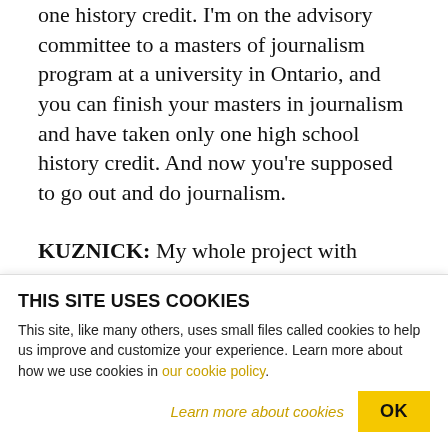you can get through the whole thing here with one history credit. I'm on the advisory committee to a masters of journalism program at a university in Ontario, and you can finish your masters in journalism and have taken only one high school history credit. And now you're supposed to go out and do journalism.
KUZNICK: My whole project with Oliver is based on the idea that history is important, that everybody has an understanding of history, and what their view of history is...
THIS SITE USES COOKIES
This site, like many others, uses small files called cookies to help us improve and customize your experience. Learn more about how we use cookies in our cookie policy.
Learn more about cookies   OK